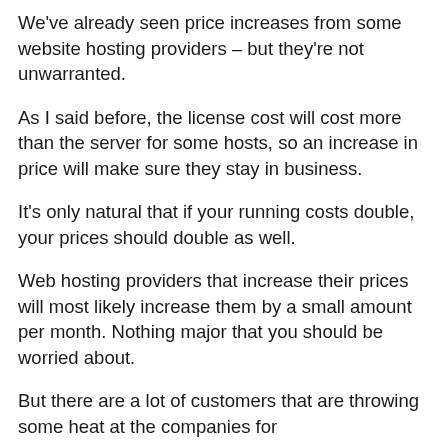We've already seen price increases from some website hosting providers – but they're not unwarranted.
As I said before, the license cost will cost more than the server for some hosts, so an increase in price will make sure they stay in business.
It's only natural that if your running costs double, your prices should double as well.
Web hosting providers that increase their prices will most likely increase them by a small amount per month. Nothing major that you should be worried about.
But there are a lot of customers that are throwing some heat at the companies for...